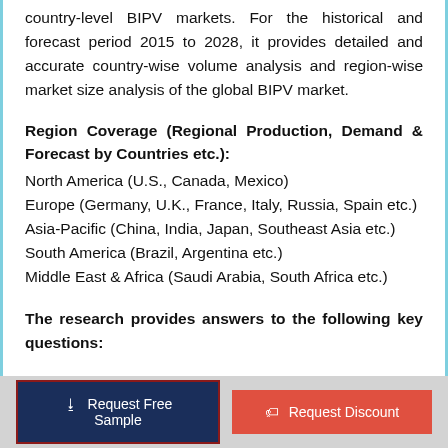country-level BIPV markets. For the historical and forecast period 2015 to 2028, it provides detailed and accurate country-wise volume analysis and region-wise market size analysis of the global BIPV market.
Region Coverage (Regional Production, Demand & Forecast by Countries etc.):
North America (U.S., Canada, Mexico)
Europe (Germany, U.K., France, Italy, Russia, Spain etc.)
Asia-Pacific (China, India, Japan, Southeast Asia etc.)
South America (Brazil, Argentina etc.)
Middle East & Africa (Saudi Arabia, South Africa etc.)
The research provides answers to the following key questions:
Request Free Sample | Request Discount